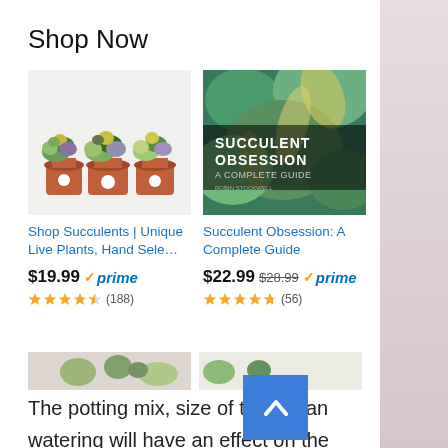Shop Now
[Figure (photo): Product listing thumbnail: succulents in terra cotta pots]
Shop Succulents | Unique Live Plants, Hand Sele…
$19.99 ✓prime
★★★★☆ (188)
[Figure (photo): Book cover: Succulent Obsession A Complete Guide]
Succulent Obsession: A Complete Guide
$22.99 $28.99 ✓prime
★★★★½ (56)
[Figure (photo): Partially visible thumbnail row of more products]
The potting mix, size of the pot and watering will have an effect on the colour as well